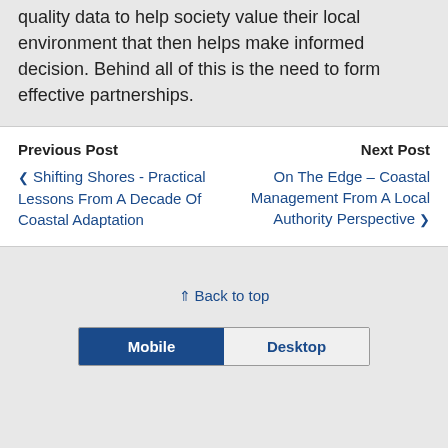of coast that I manage also the need to provide quality data to help society value their local environment that then helps make informed decision. Behind all of this is the need to form effective partnerships.
Previous Post | Shifting Shores - Practical Lessons From A Decade Of Coastal Adaptation | Next Post | On The Edge – Coastal Management From A Local Authority Perspective
Back to top
Mobile | Desktop